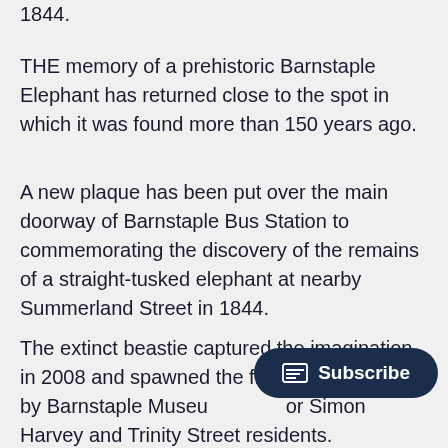1844.
THE memory of a prehistoric Barnstaple Elephant has returned close to the spot in which it was found more than 150 years ago.
A new plaque has been put over the main doorway of Barnstaple Bus Station to commemorating the discovery of the remains of a straight-tusked elephant at nearby Summerland Street in 1844.
The extinct beastie captured the imagination in 2008 and spawned the first ever organised by Barnstaple Museum or Simon Harvey and Trinity Street residents.